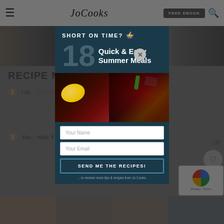JoCooks — FREE EBOOK
[Figure (screenshot): JoCooks website screenshot with modal popup overlay. The background shows a recipe notes section with numbered list items partially obscured. A modal dialog titled 'SHORT ON TIME?' advertises '18 Quick & Easy Summer Meals' with an image of drinks, a name input, email input, and 'SEND ME THE RECIPES!' button.]
RECIPE M...
1 I str... gel food... you get ... lor an them...
2 You... mbly, if you... can asse... utting boa... the same ...
SHORT ON TIME? 🍲
18 Quick & Easy Summer Meals
Your Name
Your Email
SEND ME THE RECIPES!
... to receive more tips & recipes from Jo Cooks.